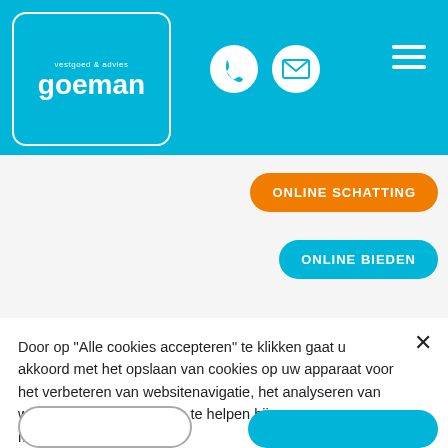[Figure (logo): Goeman Vastgoed & Advies logo - white rounded square border on cyan background with text 'vestgoed & advies goeman']
[Figure (illustration): Phone icon - white circle with telephone handset symbol, on cyan header bar]
[Figure (illustration): Email icon - white circle with envelope symbol, on cyan header bar]
[Figure (illustration): Hamburger menu icon - three white horizontal lines on cyan background]
ONLINE SCHATTING
ONLINE BIEDEN
Door op “Alle cookies accepteren” te klikken gaat u akkoord met het opslaan van cookies op uw apparaat voor het verbeteren van websitenavigatie, het analyseren van websitegebruik en om ons te helpen bij onze marketingprojecten.